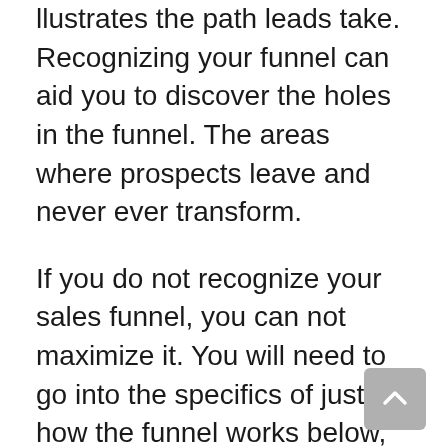llustrates the path leads take. Recognizing your funnel can aid you to discover the holes in the funnel. The areas where prospects leave and never ever transform.
If you do not recognize your sales funnel, you can not maximize it. You will need to go into the specifics of just how the funnel works below, but for now, recognize that you can influence just how site visitors relocate via the funnel and also whether they ultimately convert.
While there are great deals of words